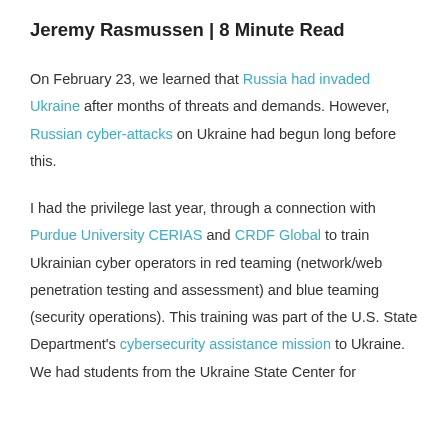Jeremy Rasmussen | 8 Minute Read
On February 23, we learned that Russia had invaded Ukraine after months of threats and demands. However, Russian cyber-attacks on Ukraine had begun long before this.
I had the privilege last year, through a connection with Purdue University CERIAS and CRDF Global to train Ukrainian cyber operators in red teaming (network/web penetration testing and assessment) and blue teaming (security operations). This training was part of the U.S. State Department's cybersecurity assistance mission to Ukraine. We had students from the Ukraine State Center for